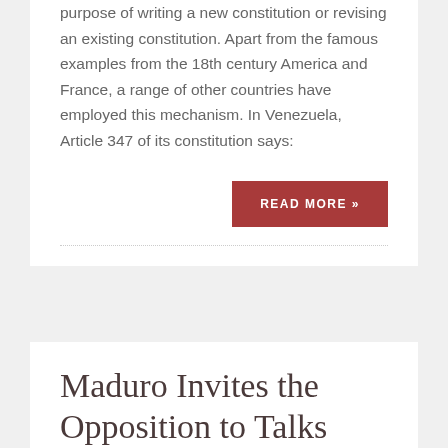purpose of writing a new constitution or revising an existing constitution. Apart from the famous examples from the 18th century America and France, a range of other countries have employed this mechanism. In Venezuela, Article 347 of its constitution says:
READ MORE »
Maduro Invites the Opposition to Talks Before